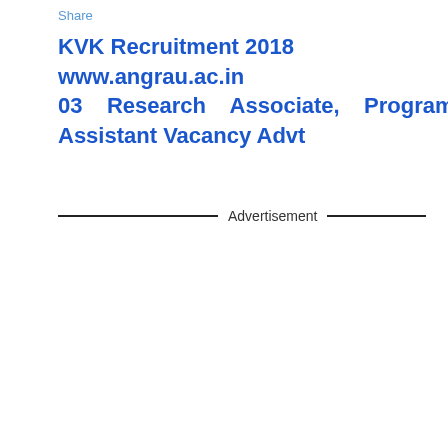Share
KVK Recruitment 2018 www.angrau.ac.in 03 Research Associate, Programme Assistant Vacancy Advt
Advertisement